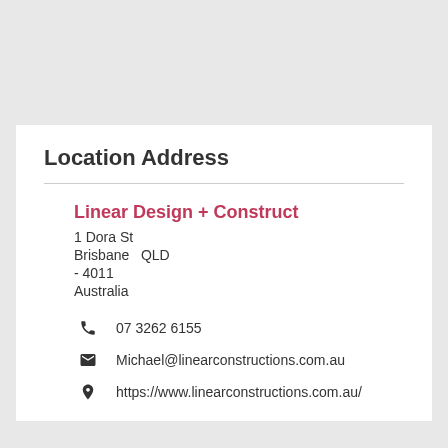Location Address
Linear Design + Construct
1 Dora St
Brisbane  QLD
- 4011
Australia
07 3262 6155
Michael@linearconstructions.com.au
https://www.linearconstructions.com.au/